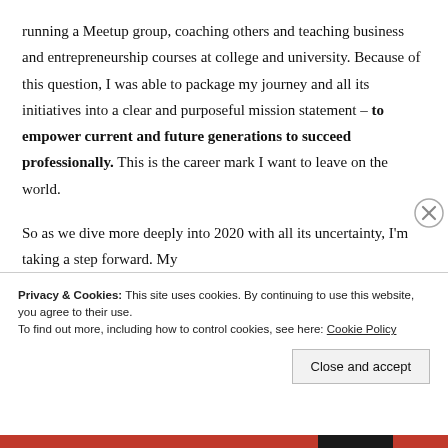running a Meetup group, coaching others and teaching business and entrepreneurship courses at college and university. Because of this question, I was able to package my journey and all its initiatives into a clear and purposeful mission statement – to empower current and future generations to succeed professionally. This is the career mark I want to leave on the world.

So as we dive more deeply into 2020 with all its uncertainty, I'm taking a step forward. My
Privacy & Cookies: This site uses cookies. By continuing to use this website, you agree to their use.
To find out more, including how to control cookies, see here: Cookie Policy